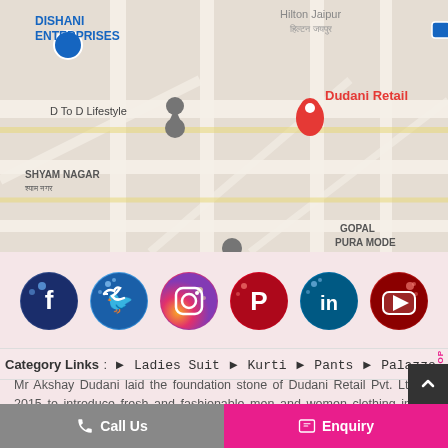[Figure (map): Google Maps screenshot showing Dudani Retail location in Jaipur, India. Visible landmarks include Dishani Enterprises, D To D Lifestyle, Nehru Bal Udyan, Gopal Pura Mode, Rambagh Palace, Birla temple, Jawahar Kala Kendra, SHYAM NAGAR, Utkarsh Classes Jaipur, Rajasthan University, and INDVANU. Red pin marker labeled 'Dudani Retail'.]
[Figure (infographic): Six social media icons in circular form: Facebook (blue), Twitter (blue), Instagram (gradient), Pinterest (red), LinkedIn (blue), YouTube (red)]
Category Links : Ladies Suit Kurti Pants Palazzo
Mr Akshay Dudani laid the foundation stone of Dudani Retail Pvt. Ltd. in 2015 to introduce fresh and fashionable men and women clothing in the global market.
Call Us
Enquiry